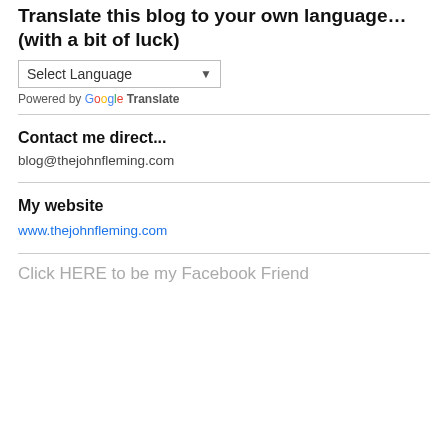Translate this blog to your own language… (with a bit of luck)
[Figure (other): Select Language dropdown widget with Google Translate branding]
Contact me direct...
blog@thejohnfleming.com
My website
www.thejohnfleming.com
Click HERE to be my Facebook Friend